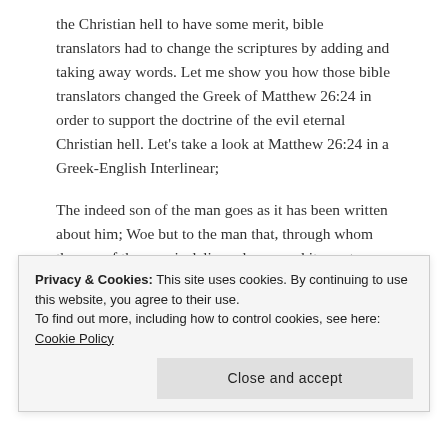the Christian hell to have some merit, bible translators had to change the scriptures by adding and taking away words. Let me show you how those bible translators changed the Greek of Matthew 26:24 in order to support the doctrine of the evil eternal Christian hell. Let's take a look at Matthew 26:24 in a Greek-English Interlinear;
The indeed son of the man goes as it has been written about him; Woe but to the man that, through whom the son of the man is delivered up; good it was to him, if not was born the man
Privacy & Cookies: This site uses cookies. By continuing to use this website, you agree to their use.
To find out more, including how to control cookies, see here: Cookie Policy
[Close and accept]